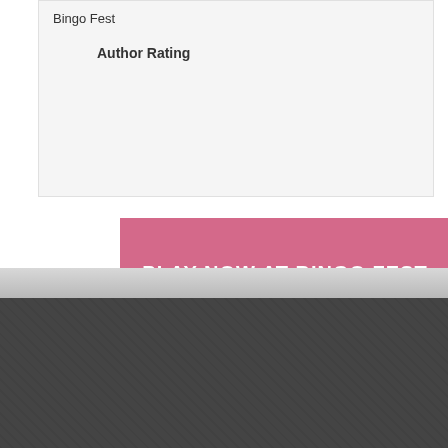Bingo Fest
Author Rating
PLAY NOW AT BINGO FEST
SEARCH OUR DATABASE
Search